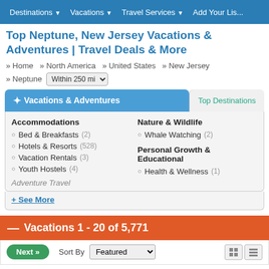Destinations ▼   Vacations ▼   Travel Services ▼   Add Your Lis...
Top Neptune, New Jersey Vacations & Adventures | Travel Deals & More
» Home  » North America  » United States  » New Jersey  » Neptune  Within 250 mi
✦ Vacations & Adventures
Top Destinations
Accommodations
Bed & Breakfasts (2)
Hotels & Resorts (528)
Vacation Rentals (3)
Youth Hostels (4)
Adventure Travel
Nature & Wildlife
Whale Watching (2)
Personal Growth & Educational
Health & Wellness (1)
+ See More
— Vacations 1 - 20 of 5,771
Next »   Sort By  Featured